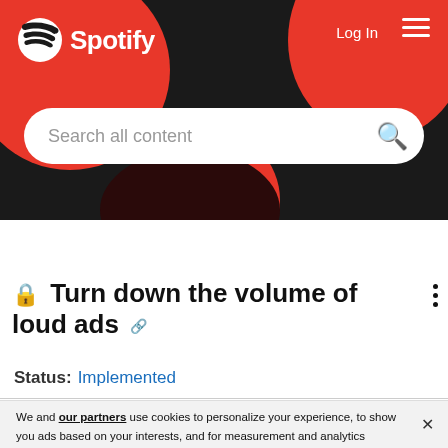[Figure (screenshot): Spotify website header with red and black background, Spotify logo top-left, Log In and hamburger menu top-right, and a search bar reading 'Search all content']
Home / Ideas / Implemented Ideas
🔒 Turn down the volume of loud ads 🔗
Status: Implemented
We and our partners use cookies to personalize your experience, to show you ads based on your interests, and for measurement and analytics purposes. By using